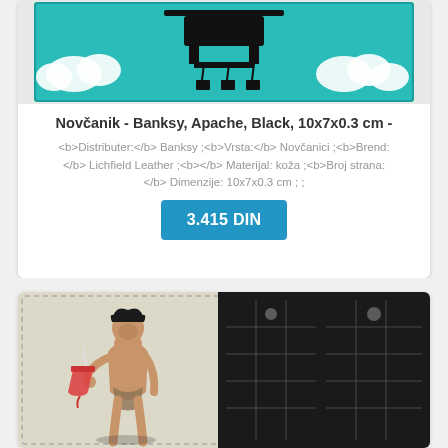[Figure (photo): Top portion of a teal/turquoise Banksy Apache wallet product photo with black graphic design elements]
Novčanik - Banksy, Apache, Black, 10x7x0.3 cm -
<b>Distributer:</b> Banksy ;<b>Vrsta:</b> Novčanici ;<b>Brend:</b> Lichfield Leather ;<b></b> Materijal: koža ;<b>Broj strana:</b> Dimenzije: 10x7x0.3 cm ; ;
3.415 DIN
[Figure (photo): Banksy caveman wallet showing a caveman figure holding a fast food cup on white/cream leather background with black phone booth grid pattern on right side]